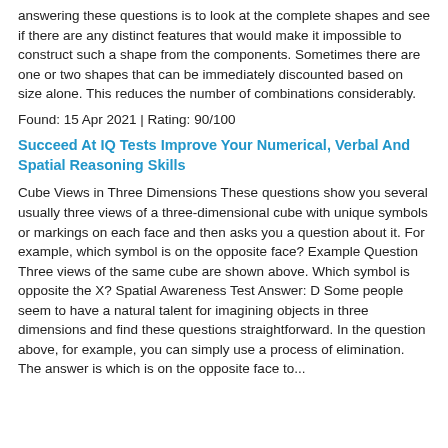answering these questions is to look at the complete shapes and see if there are any distinct features that would make it impossible to construct such a shape from the components. Sometimes there are one or two shapes that can be immediately discounted based on size alone. This reduces the number of combinations considerably.
Found: 15 Apr 2021 | Rating: 90/100
Succeed At IQ Tests Improve Your Numerical, Verbal And Spatial Reasoning Skills
Cube Views in Three Dimensions These questions show you several usually three views of a three-dimensional cube with unique symbols or markings on each face and then asks you a question about it. For example, which symbol is on the opposite face? Example Question Three views of the same cube are shown above. Which symbol is opposite the X? Spatial Awareness Test Answer: D Some people seem to have a natural talent for imagining objects in three dimensions and find these questions straightforward. In the question above, for example, you can simply use a process of elimination. The answer is which is on the opposite face to...